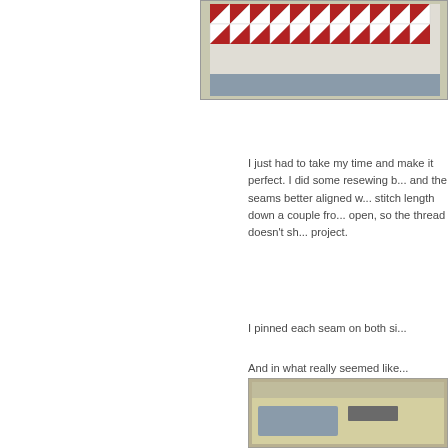[Figure (photo): Partial view of a red and white patterned quilt or fabric with triangular geometric design, shown against a light background]
I just had to take my time and make it perfect.  I did some resewing b... and the seams better aligned w... stitch length down a couple fro... open, so the thread doesn't sh... project.
I pinned each seam on both si...
And in what really seemed like... required.  I found this to be a r...  And as I mentioned earlier, the... do but sew and listen to books...
[Figure (photo): Partial view of a sewing or quilting project on a table, showing fabric and possibly a sewing machine]